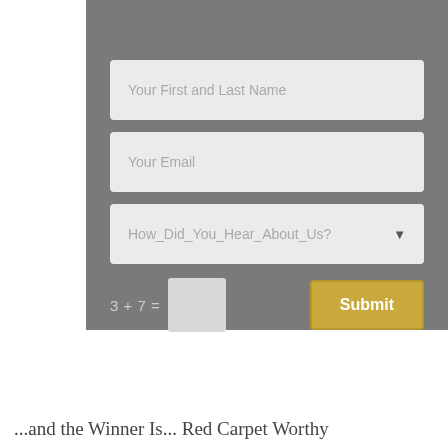[Figure (screenshot): A web form with gray background containing fields: 'Your First and Last Name' text input, 'Your Email' text input, 'How_Did_You_Hear_About_Us?' dropdown, a CAPTCHA math equation '3 + 7 =' with an input box, and a gold 'Submit' button.]
...and the Winner Is... Red Carpet Worthy